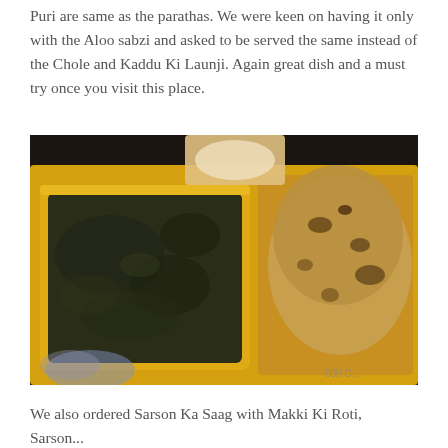Puri are same as the parathas. We were keen on having it only with the Aloo sabzi and asked to be served the same instead of the Chole and Kaddu Ki Launji. Again great dish and a must try once you visit this place.
[Figure (photo): A yellow serving bowl filled with dark green saag (mustard greens curry), alongside flatbreads (makki ki roti/paratha) on a yellow plate. A small bowl with white onion pieces visible in the background. Restaurant branding partially visible at bottom right.]
We also ordered Sarson Ka Saag with Makki Ki Roti, Sarson...